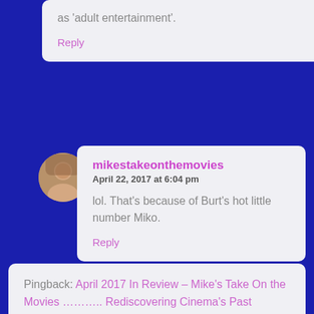as 'adult entertainment'.
Reply
mikestakeonthemovies
April 22, 2017 at 6:04 pm

lol. That's because of Burt's hot little number Miko.

Reply
Pingback: April 2017 In Review – Mike's Take On the Movies ……….. Rediscovering Cinema's Past